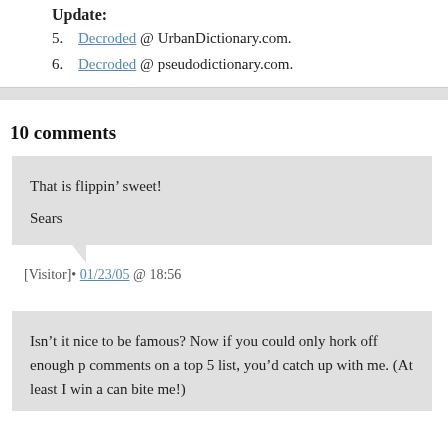Update:
5. Decroded @ UrbanDictionary.com.
6. Decroded @ pseudodictionary.com.
10 comments
That is flippin’ sweet!

Sears
[Visitor]• 01/23/05 @ 18:56
Isn’t it nice to be famous? Now if you could only hork off enough p comments on a top 5 list, you’d catch up with me. (At least I win a can bite me!)